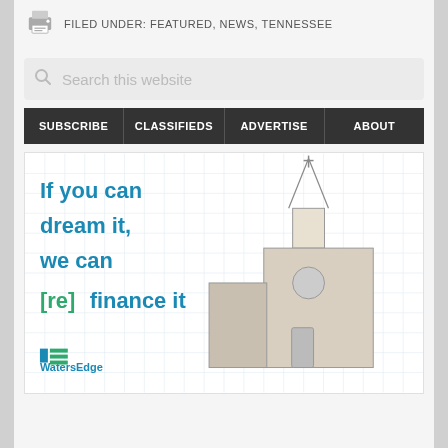FILED UNDER: FEATURED, NEWS, TENNESSEE
Search this website
SUBSCRIBE
CLASSIFIEDS
ADVERTISE
ABOUT
[Figure (illustration): WatersEdge advertisement banner with church building sketch on grid paper background. Text reads: If you can dream it, we can [re]finance it. WatersEdge logo at bottom left.]